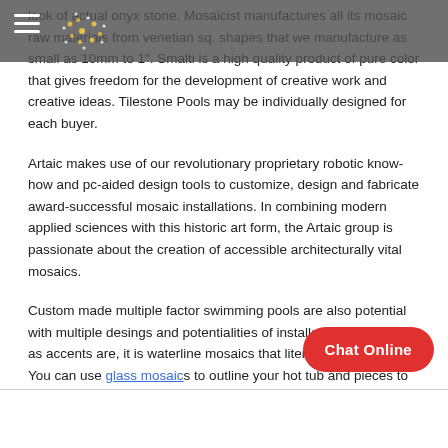look of actual onyx stone. Mosaicist manufactures all its mosaic raw materials from venetian sq. shapes that we manufacture as small as 10mm to 1". Smalti is a high quality product of pure color that gives freedom for the development of creative work and creative ideas. Tilestone Pools may be individually designed for each buyer.
Artaic makes use of our revolutionary proprietary robotic know-how and pc-aided design tools to customize, design and fabricate award-successful mosaic installations. In combining modern applied sciences with this historic art form, the Artaic group is passionate about the creation of accessible architecturally vital mosaics.
Custom made multiple factor swimming pools are also potential with multiple desings and potentialities of installations. As great as accents are, it is waterline mosaics that literally detail the pool. You can use glass mosaics to outline your hot tub and pieces to make the sting easy and spherical.